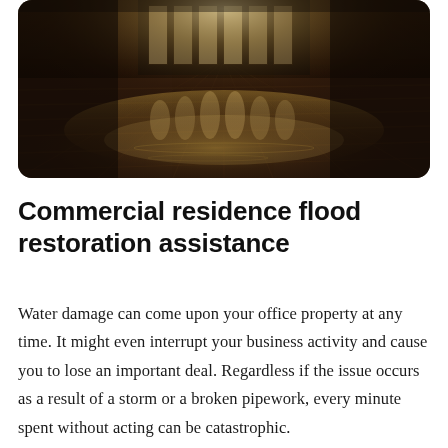[Figure (photo): Photograph of a flooded interior floor — dark wooden or tiled floor with standing water reflecting light from windows or glass doors in the background. The scene is dark with warm amber tones, illuminated by bright backlight through large windows or a glass-paneled entrance. Image has rounded corners.]
Commercial residence flood restoration assistance
Water damage can come upon your office property at any time. It might even interrupt your business activity and cause you to lose an important deal. Regardless if the issue occurs as a result of a storm or a broken pipework, every minute spent without acting can be catastrophic.